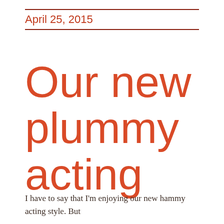April 25, 2015
Our new plummy acting
I have to say that I'm enjoying our new hammy acting style. But